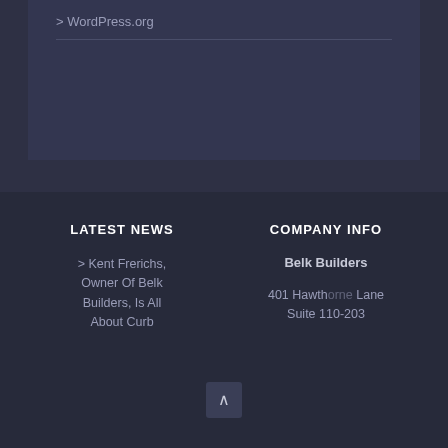> WordPress.org
LATEST NEWS
COMPANY INFO
> Kent Frerichs, Owner Of Belk Builders, Is All About Curb
Belk Builders
401 Hawthorne Lane
Suite 110-203